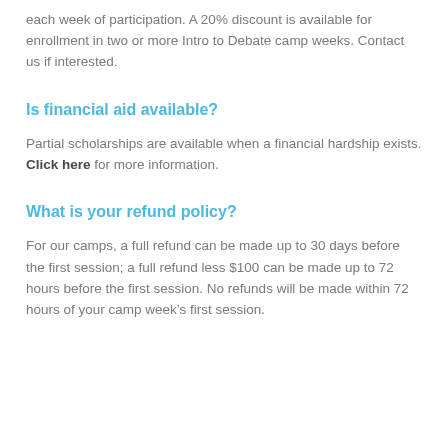each week of participation. A 20% discount is available for enrollment in two or more Intro to Debate camp weeks. Contact us if interested.
Is financial aid available?
Partial scholarships are available when a financial hardship exists. Click here for more information.
What is your refund policy?
For our camps, a full refund can be made up to 30 days before the first session; a full refund less $100 can be made up to 72 hours before the first session. No refunds will be made within 72 hours of your camp week’s first session.